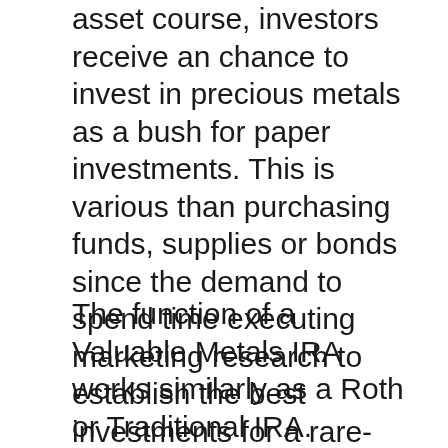asset course, investors receive an chance to invest in precious metals as a bush for paper investments. This is various than purchasing funds, supplies or bonds since the demand to spend time executing marketing research to establish the best investments for a rare-earth elements individual retirement account has been gotten rid of. The customer just picks from a magazine containing silver and gold bullion to money their account.
The function of a Valuable Metals IRA works similarly as a Roth or Traditional IRA. Customers saving for retired life obtain an investment chance with a tax obligation benefit. A Goldco Gold individual retirement account is a retirement account allowing customers to make an financial investment